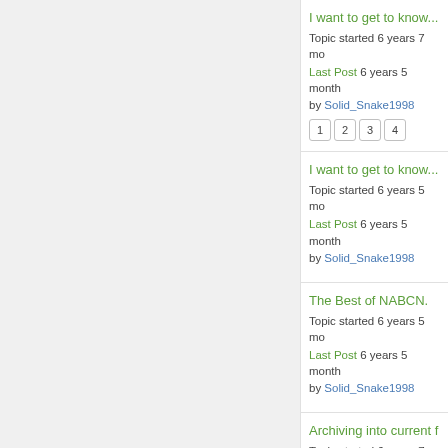I want to get to know... Topic started 6 years 7 mo Last Post 6 years 5 month by Solid_Snake1998 Pages: 1 2 3 4
I want to get to know... Topic started 6 years 5 mo Last Post 6 years 5 month by Solid_Snake1998
The Best of NABCN. Topic started 6 years 5 mo Last Post 6 years 5 month by Solid_Snake1998
Archiving into current f Topic started 6 years 7 mo Last Post 6 years 5 month by Rajada Pages: 1 2 3